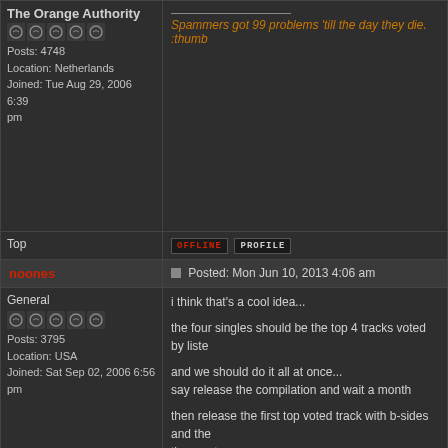The Orange Authority
Posts: 4748
Location: Netherlands
Joined: Tue Aug 29, 2006 6:39 pm
Spammers got 99 problems 'till the day they die. :thumb
Top
OFFLINE  PROFILE
noones
Posted: Mon Jun 10, 2013 4:06 am
General
Posts: 3795
Location: USA
Joined: Sat Sep 02, 2006 6:56 pm
i think that's a cool idea...

the four singles should be the top 4 tracks voted by liste

and we should do it all at once...
say release the compilation and wait a month

then release the first top voted track with b-sides and the them out.

that way we can keep promoting the compilation for a fe

i think we should utilize Bandcamp
"I can fill the fucking room up with torture and pain"
Top
OFFLINE  PROFILE  HOMEPAGE